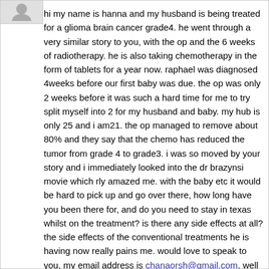hi my name is hanna and my husband is being treated for a glioma brain cancer grade4. he went through a very similar story to you, with the op and the 6 weeks of radiotherapy. he is also taking chemotherapy in the form of tablets for a year now. raphael was diagnosed 4weeks before our first baby was due. the op was only 2 weeks before it was such a hard time for me to try split myself into 2 for my husband and baby. my hub is only 25 and i am21. the op managed to remove about 80% and they say that the chemo has reduced the tumor from grade 4 to grade3. i was so moved by your story and i immediately looked into the dr brazynsi movie which rly amazed me. with the baby etc it would be hard to pick up and go over there, how long have you been there for, and do you need to stay in texas whilst on the treatment? is there any side effects at all? the side effects of the conventional treatments he is having now really pains me. would love to speak to you, my email address is chanaorsh@gmail.com. well done for everything you have both done, and as a partner myself of a cancer patient i can particularly feel for pete. times are hard for us also but will try